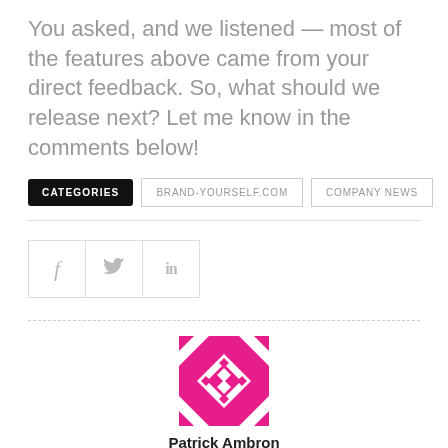You asked, and we listened — most of the features above came from your direct feedback. So, what should we release next? Let me know in the comments below!
CATEGORIES   BRAND-YOURSELF.COM   COMPANY NEWS
[Figure (other): Social sharing buttons: Facebook (f), Twitter (bird), LinkedIn (in)]
[Figure (logo): Patrick Ambron avatar — magenta/white geometric quilt pattern logo]
Patrick Ambron